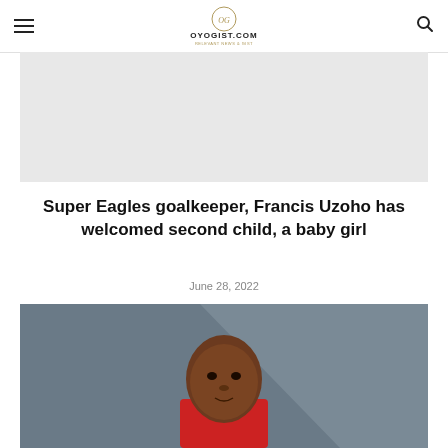OYOGIST.COM
[Figure (photo): Gray advertisement/image placeholder banner]
Super Eagles goalkeeper, Francis Uzoho has welcomed second child, a baby girl
June 28, 2022
[Figure (photo): Photo of a Black male football player in a red jersey, looking slightly to the side, with a blurred gray background]